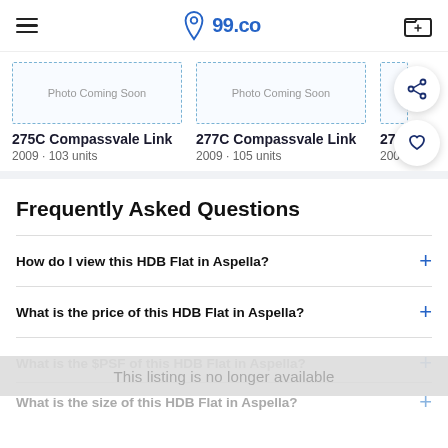99.co
[Figure (screenshot): Property listing cards for 275C Compassvale Link and 277C Compassvale Link, each showing 'Photo Coming Soon' placeholder with dashed border, property title, year and unit count. Floating share and heart buttons visible on the right.]
275C Compassvale Link
2009 · 103 units
277C Compassvale Link
2009 · 105 units
Frequently Asked Questions
How do I view this HDB Flat in Aspella?
What is the price of this HDB Flat in Aspella?
What is the $PSF of this HDB Flat in Aspella?
What is the size of this HDB Flat in Aspella?
This listing is no longer available